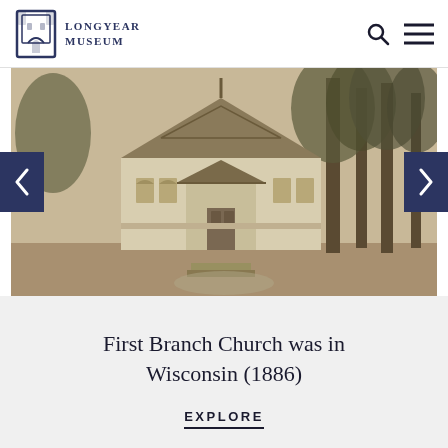Longyear Museum
[Figure (photo): Black and white historical photograph of a church building with gabled roof, decorative woodwork, front entrance stairs, and trees to the right.]
First Branch Church was in Wisconsin (1886)
EXPLORE